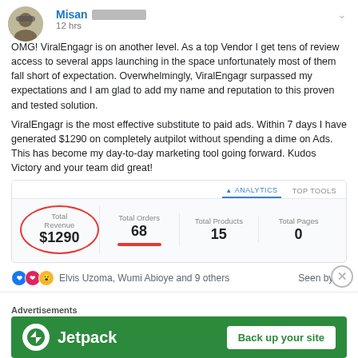[Figure (screenshot): Social media post by user 'Misan' with profile picture avatar, posted 12 hrs ago]
OMG! ViralEngagr is on another level. As a top Vendor I get tens of review access to several apps launching in the space unfortunately most of them fall short of expectation. Overwhelmingly, ViralEngagr surpassed my expectations and I am glad to add my name and reputation to this proven and tested solution.
ViralEngagr is the most effective substitute to paid ads. Within 7 days I have generated $1290 on completely autpilot without spending a dime on Ads. This has become my day-to-day marketing tool going forward. Kudos Victory and your team did great!
[Figure (screenshot): Analytics dashboard screenshot showing: Total Revenue $1290 (circled in red), Total Orders 68, Total Products 15, Total Pages 0. Tabs: ANALYTICS (active), TOP TOOLS.]
Elvis Uzoma, Wumi Abioye and 9 others   Seen by 38
ViralEngagr Elite: Turn Social Media Into PERSONAL Profits by Victory Akpos
Advertisements
[Figure (screenshot): Jetpack advertisement banner: green background, Jetpack logo, text 'Jetpack', button 'Back up your site']